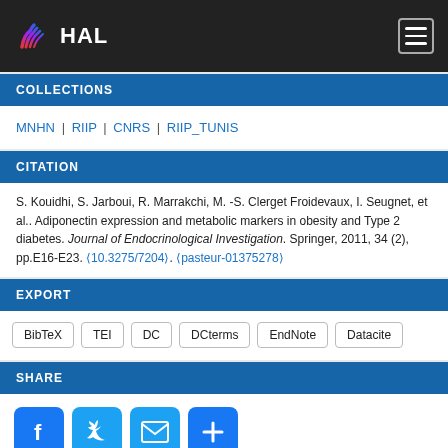HAL
COLLECTIONS
MNHN | RIIP | CNRS | RIIP_TUNIS
CITATION
S. Kouidhi, S. Jarboui, R. Marrakchi, M. -S. Clerget Froidevaux, I. Seugnet, et al.. Adiponectin expression and metabolic markers in obesity and Type 2 diabetes. Journal of Endocrinological Investigation. Springer, 2011, 34 (2), pp.E16-E23. ⟨10.3275/7204⟩. ⟨pasteur-01375278⟩
EXPORT
BibTeX
TEI
DC
DCterms
EndNote
Datacite
SHARE
[Figure (infographic): Social share buttons: Facebook, Twitter, Email, and a plus/more button]